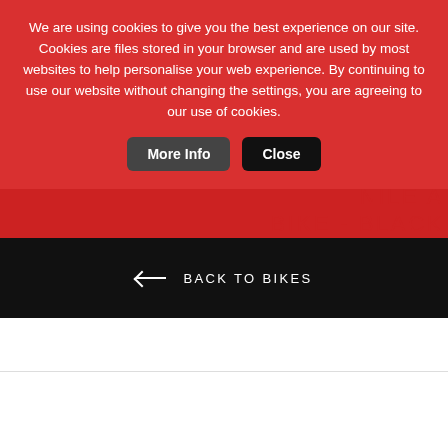We are using cookies to give you the best experience on our site. Cookies are files stored in your browser and are used by most websites to help personalise your web experience. By continuing to use our website without changing the settings, you are agreeing to our use of cookies.
CULT 20... NILE A... BIKE - BLACK RED CAMO 16.5" £459.99
← BACK TO BIKES